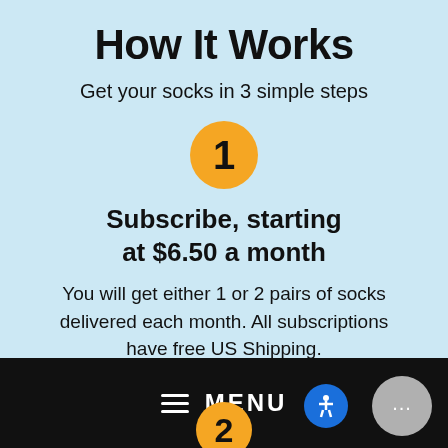How It Works
Get your socks in 3 simple steps
[Figure (infographic): Yellow circle with bold number 1 indicating step 1]
Subscribe, starting at $6.50 a month
You will get either 1 or 2 pairs of socks delivered each month. All subscriptions have free US Shipping.
[Figure (infographic): Black navigation bar at bottom with hamburger menu icon and MENU text, accessibility button, chat button, and partially visible step 2 yellow circle]